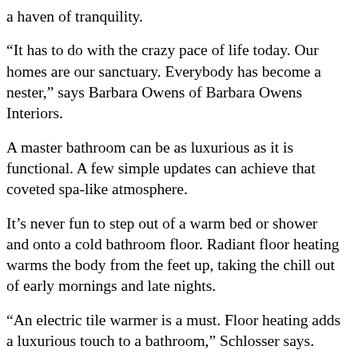a haven of tranquility.
“It has to do with the crazy pace of life today. Our homes are our sanctuary. Everybody has become a nester,” says Barbara Owens of Barbara Owens Interiors.
A master bathroom can be as luxurious as it is functional. A few simple updates can achieve that coveted spa-like atmosphere.
It’s never fun to step out of a warm bed or shower and onto a cold bathroom floor. Radiant floor heating warms the body from the feet up, taking the chill out of early mornings and late nights.
“An electric tile warmer is a must. Floor heating adds a luxurious touch to a bathroom,” Schlosser says.
A programmable thermostat ensures tile will be warm when needed. Even better, floor heating works well with laminate, wood, tile and stone.
Also essential are heated towel bars. Sleek and visually appealing,